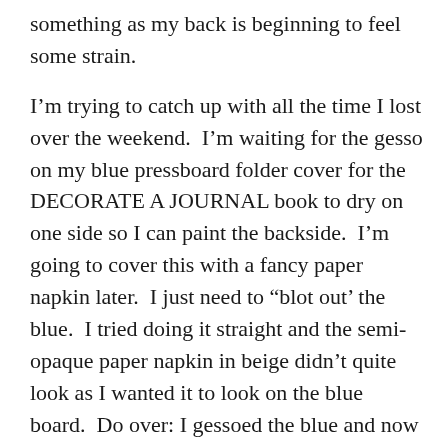something as my back is beginning to feel some strain.
I'm trying to catch up with all the time I lost over the weekend.  I'm waiting for the gesso on my blue pressboard folder cover for the DECORATE A JOURNAL book to dry on one side so I can paint the backside.  I'm going to cover this with a fancy paper napkin later.  I just need to “blot out’ the blue.  I tried doing it straight and the semi-opaque paper napkin in beige didn’t quite look as I wanted it to look on the blue board.  Do over: I gessoed the blue and now have a white base for the paper napkin to cling to.
I also had the chance to play with some stencils and acrylic paint on printed paper which came out rather